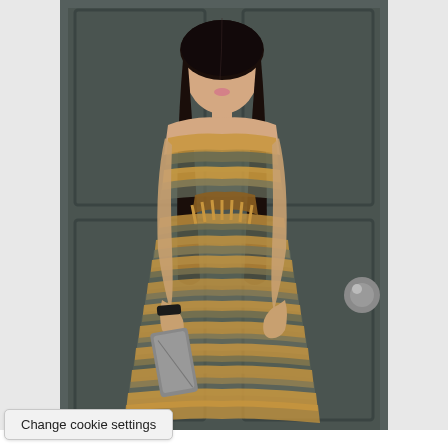[Figure (photo): A woman with long dark hair wearing a sleeveless open-weave crochet maxi dress with a wavy pattern alternating between golden/amber and dark olive/grey tones. She holds a metallic clutch bag and wears a black bracelet. She stands in front of a dark grey painted door with a visible door knob.]
Change cookie settings